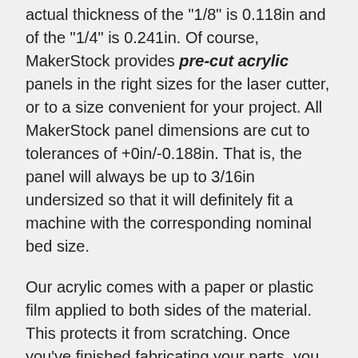actual thickness of the "1/8" is 0.118in and of the "1/4" is 0.241in. Of course, MakerStock provides pre-cut acrylic panels in the right sizes for the laser cutter, or to a size convenient for your project. All MakerStock panel dimensions are cut to tolerances of +0in/-0.188in. That is, the panel will always be up to 3/16in undersized so that it will definitely fit a machine with the corresponding nominal bed size.
Our acrylic comes with a paper or plastic film applied to both sides of the material. This protects it from scratching. Once you've finished fabricating your parts, you simply peel off the film.
The density of acrylic is about 1180 kg/m3 or 0.043 lb/in3, so acrylic is quite a bit heavier than wood, but only about 40% of the density of aluminum.
Industry color code 3199.
Thicknesses Available